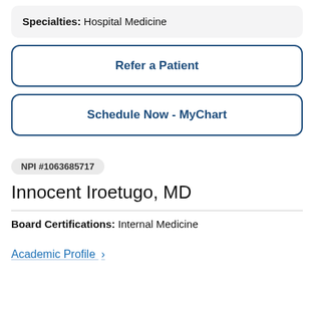Specialties: Hospital Medicine
Refer a Patient
Schedule Now - MyChart
NPI #1063685717
Innocent Iroetugo, MD
Board Certifications: Internal Medicine
Academic Profile >